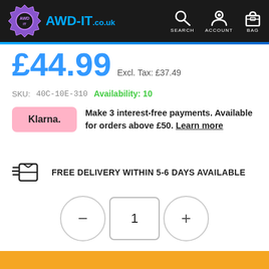[Figure (logo): AWD-IT.co.uk website header with logo and navigation icons (Search, Account, Bag)]
£44.99 Excl. Tax: £37.49
SKU: 40C-10E-310   Availability: 10
Make 3 interest-free payments. Available for orders above £50. Learn more
FREE DELIVERY WITHIN 5-6 DAYS AVAILABLE
1